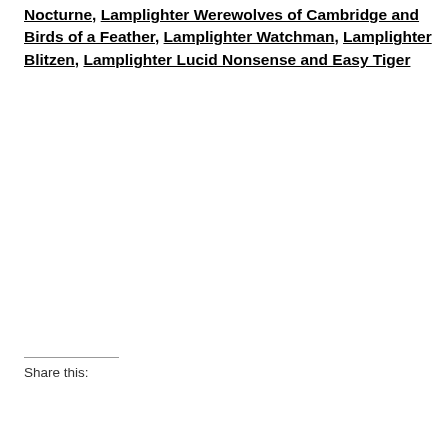Nocturne, Lamplighter Werewolves of Cambridge and Birds of a Feather, Lamplighter Watchman, Lamplighter Blitzen, Lamplighter Lucid Nonsense and Easy Tiger
Share this: